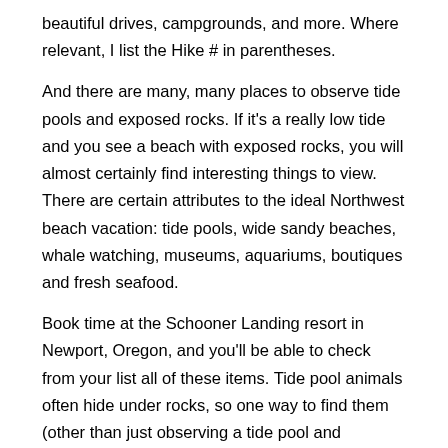beautiful drives, campgrounds, and more. Where relevant, I list the Hike # in parentheses.
And there are many, many places to observe tide pools and exposed rocks. If it's a really low tide and you see a beach with exposed rocks, you will almost certainly find interesting things to view. There are certain attributes to the ideal Northwest beach vacation: tide pools, wide sandy beaches, whale watching, museums, aquariums, boutiques and fresh seafood.
Book time at the Schooner Landing resort in Newport, Oregon, and you'll be able to check from your list all of these items. Tide pool animals often hide under rocks, so one way to find them (other than just observing a tide pool and watching them move around) is to gently lift a rock up and see what's underneath.
Always put the rock back where you found it. If you flip it over entirely, you could kill marine life living on its upper or lower side. Book In Advance. 2 day Tour from Eugene to the Oregon Coast. Multi-day Tours. From $* Spent a couple of hours on Cobble Beach whale